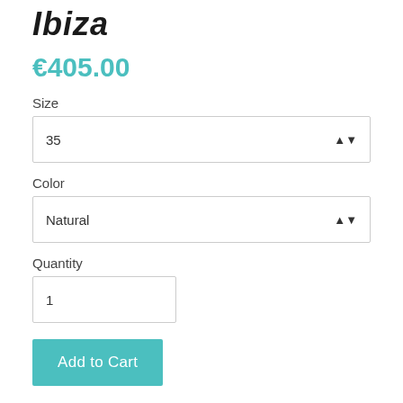Ibiza
€405.00
Size
35
Color
Natural
Quantity
1
Add to Cart
Ibiza is the super high version of boots of the fishing nets